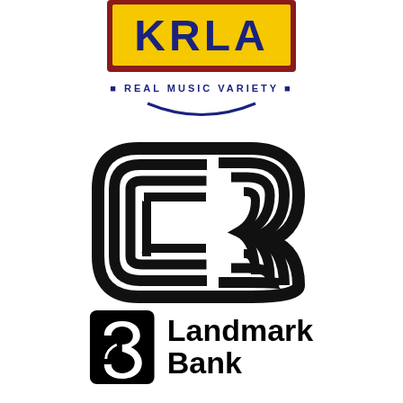[Figure (logo): KRLA radio station logo with yellow background, dark red border, blue block letters KRLA, and 'REAL MUSIC VARIETY' tagline in dark blue with yellow square bullet points and a dark blue arc underline]
[Figure (logo): CB logo mark consisting of two abstract interlocking letterforms C and B made of concentric rounded rectangular stripes in black and white]
[Figure (logo): Landmark Bank logo with black square icon containing a white stylized figure/bird shape and the text 'Landmark Bank' in bold black sans-serif]